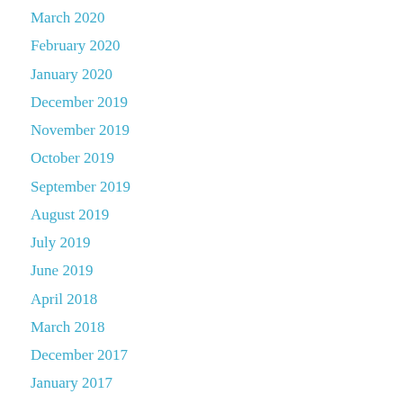March 2020
February 2020
January 2020
December 2019
November 2019
October 2019
September 2019
August 2019
July 2019
June 2019
April 2018
March 2018
December 2017
January 2017